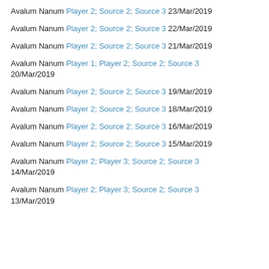Avalum Nanum Player 2; Source 2; Source 3 23/Mar/2019
Avalum Nanum Player 2; Source 2; Source 3 22/Mar/2019
Avalum Nanum Player 2; Source 2; Source 3 21/Mar/2019
Avalum Nanum Player 1; Player 2; Source 2; Source 3 20/Mar/2019
Avalum Nanum Player 2; Source 2; Source 3 19/Mar/2019
Avalum Nanum Player 2; Source 2; Source 3 18/Mar/2019
Avalum Nanum Player 2; Source 2; Source 3 16/Mar/2019
Avalum Nanum Player 2; Source 2; Source 3 15/Mar/2019
Avalum Nanum Player 2; Player 3; Source 2; Source 3 14/Mar/2019
Avalum Nanum Player 2; Player 3; Source 2; Source 3 13/Mar/2019